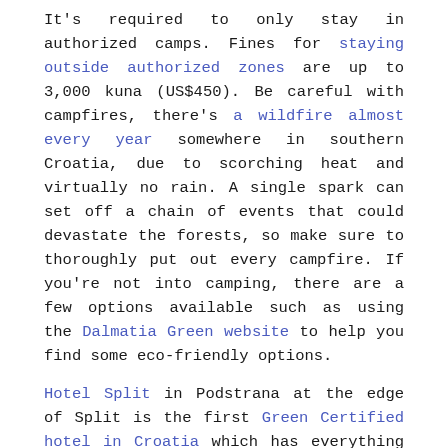It's required to only stay in authorized camps. Fines for staying outside authorized zones are up to 3,000 kuna (US$450). Be careful with campfires, there's a wildfire almost every year somewhere in southern Croatia, due to scorching heat and virtually no rain. A single spark can set off a chain of events that could devastate the forests, so make sure to thoroughly put out every campfire. If you're not into camping, there are a few options available such as using the Dalmatia Green website to help you find some eco-friendly options.
Hotel Split in Podstrana at the edge of Split is the first Green Certified hotel in Croatia which has everything from solar heated water, rainwater tanks, heat recovery systems, and biodegradable cleaning products. Sun Gardens from Radisson Blu in Dubrovnik has an innovative heating and ventilation system that is cooled by the ocean, as well as a green roof. Kempinski Adriatic near the border with Slovenia uses rainwater to keep its golf course green. The fantastic farm called